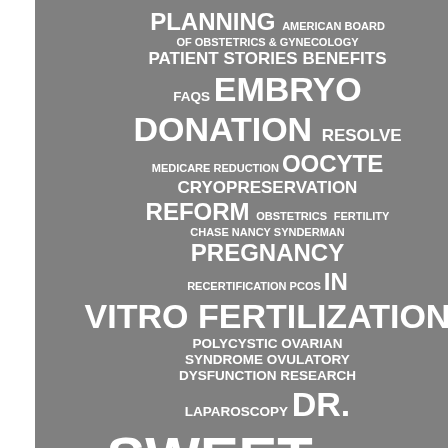[Figure (infographic): Word cloud on a grey background featuring medical and fertility-related terms in white bold text. Terms include: PLANNING, AMERICAN BOARD OF OBSTETRICS & GYNECOLOGY, PATIENT STORIES, BENEFITS, FAQS, EMBRYO DONATION, RESOLVE, MEDICARE REDUCTION, OOCYTE CRYOPRESERVATION, REFORM, OBSTETRICS, FERTILITY, CHASE, NANCY SYNDERMAN, PREGNANCY, RECERTIFICATION, PCOS, IN VITRO FERTILIZATION, POLYCYSTIC OVARIAN SYNDROME, OVULATORY DYSFUNCTION, RESEARCH, LAPAROSCOPY, DR. SWEET, FAMILY PLANNING, AWARENESS MONTH, MEDICARE, MALE INFERTILITY, IVF, SURROGACY, HEALTH, WOMEN'S HEALTH CARE, EMBRYO ADOPTION, NATIONAL INFERTILITY AWARENESS WEEK, GYNECOLOGY, FERTILITY, FAQS]